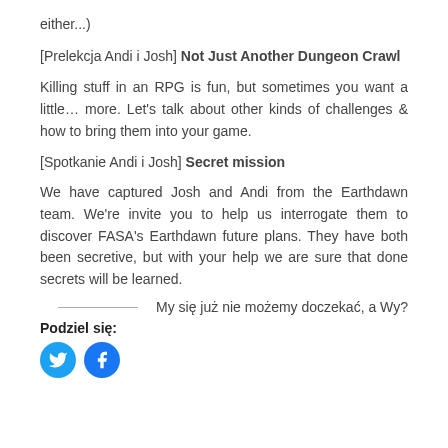either...)
[Prelekcja Andi i Josh] Not Just Another Dungeon Crawl
Killing stuff in an RPG is fun, but sometimes you want a little… more. Let's talk about other kinds of challenges & how to bring them into your game.
[Spotkanie Andi i Josh] Secret mission
We have captured Josh and Andi from the Earthdawn team. We're invite you to help us interrogate them to discover FASA's Earthdawn future plans. They have both been secretive, but with your help we are sure that done secrets will be learned.
My się już nie możemy doczekać, a Wy?
Podziel się:
[Figure (illustration): Two social media sharing icons: a teal Twitter bird icon and a blue Facebook 'f' icon, both circular.]